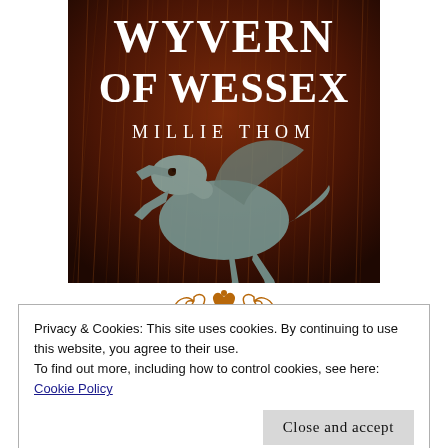[Figure (illustration): Book cover for 'Wyvern of Wessex' by Millie Thom. Dark reddish-brown background with dry grass/reeds. Large text 'WYVERN OF WESSEX' at top in white serif font. 'MILLIE THOM' below in white spaced serif letters. Center shows a metallic/silver wyvern dragon heraldic figure.]
[Figure (illustration): Decorative golden/brown ornamental divider with scrollwork and a heart or crown motif in the center]
Privacy & Cookies: This site uses cookies. By continuing to use this website, you agree to their use.
To find out more, including how to control cookies, see here:
Cookie Policy
[Figure (illustration): Decorative golden/brown ornamental dividers at bottom of page, two symmetrical scroll motifs]